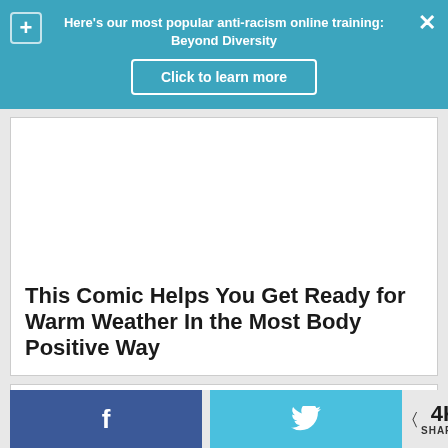Here's our most popular anti-racism online training: Beyond Diversity
Click to learn more
This Comic Helps You Get Ready for Warm Weather In the Most Body Positive Way
[Figure (screenshot): Second article card, partially visible]
f  [twitter bird]  < 4K SHARES